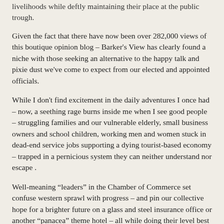livelihoods while deftly maintaining their place at the public trough.
Given the fact that there have now been over 282,000 views of this boutique opinion blog – Barker's View has clearly found a niche with those seeking an alternative to the happy talk and pixie dust we've come to expect from our elected and appointed officials.
While I don't find excitement in the daily adventures I once had – now, a seething rage burns inside me when I see good people – struggling families and our vulnerable elderly, small business owners and school children, working men and women stuck in dead-end service jobs supporting a dying tourist-based economy – trapped in a pernicious system they can neither understand nor escape .
Well-meaning “leaders” in the Chamber of Commerce set confuse western sprawl with progress – and pin our collective hope for a brighter future on a glass and steel insurance office or another “panacea” theme hotel – all while doing their level best to paint a pretty face on the fetid corpse of a once thriving beach community with perhaps the most recognizable brand name in the world.